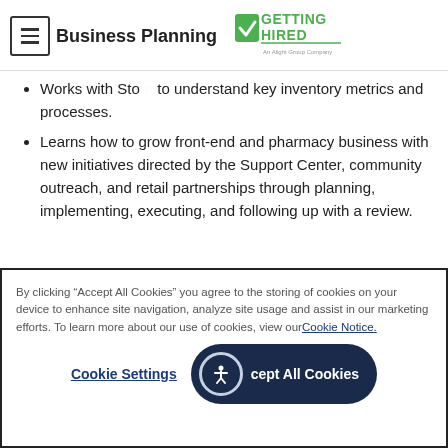Business Planning
[Figure (logo): Getting Hired logo - text GETTING HIRED with checkmark, An Alight Group Company]
Works with Store to understand key inventory metrics and processes.
Learns how to grow front-end and pharmacy business with new initiatives directed by the Support Center, community outreach, and retail partnerships through planning, implementing, executing, and following up with a review.
By clicking “Accept All Cookies” you agree to the storing of cookies on your device to enhance site navigation, analyze site usage and assist in our marketing efforts. To learn more about our use of cookies, view our Cookie Notice.
Cookie Settings | Accept All Cookies